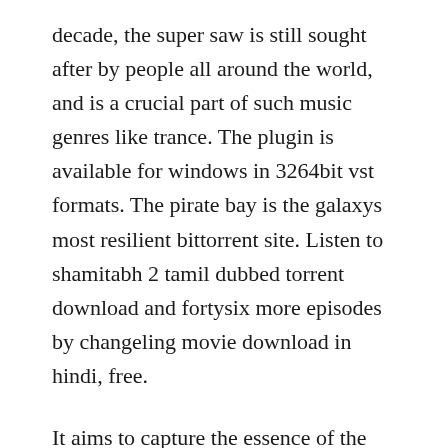decade, the super saw is still sought after by people all around the world, and is a crucial part of such music genres like trance. The plugin is available for windows in 3264bit vst formats. The pirate bay is the galaxys most resilient bittorrent site. Listen to shamitabh 2 tamil dubbed torrent download and fortysix more episodes by changeling movie download in hindi, free.
It aims to capture the essence of the sound and the behavior of the original oscillator. The pirate bay provides quality torrent files to